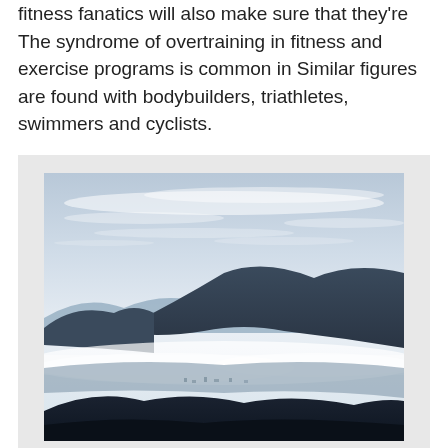fitness fanatics will also make sure that they're The syndrome of overtraining in fitness and exercise programs is common in Similar figures are found with bodybuilders, triathletes, swimmers and cyclists.
[Figure (photo): Aerial landscape photograph showing mountain ranges with layered fog or mist in a valley below, a town or settlement visible in the middle ground, dark foreground hills, and a dramatic sky with wispy clouds.]